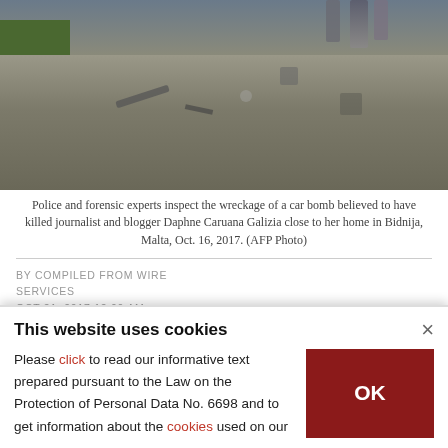[Figure (photo): Police and forensic experts inspecting the wreckage of a car bomb at a road scene in Bidnija, Malta. Debris scattered on road, green vegetation on left, investigators visible in background.]
Police and forensic experts inspect the wreckage of a car bomb believed to have killed journalist and blogger Daphne Caruana Galizia close to her home in Bidnija, Malta, Oct. 16, 2017. (AFP Photo)
BY COMPILED FROM WIRE SERVICES
OCT 21, 2017 12:00 AM
The Maltese government said Saturday it is offering an "unprecedented" 1 million euros